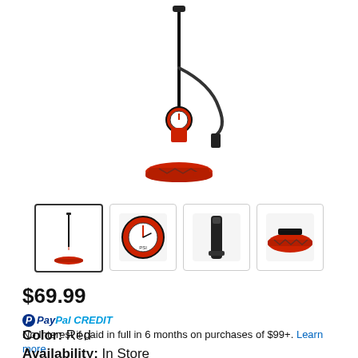[Figure (photo): Red and black bicycle floor pump (Specialized brand) shown full-length, standing upright with hose and gauge visible]
[Figure (photo): Four product thumbnail images: full pump view (selected), gauge detail, nozzle/hose detail, base detail]
$69.99
PayPal CREDIT  No Interest if paid in full in 6 months on purchases of $99+. Learn more
Color:  Red
Availability:  In Store